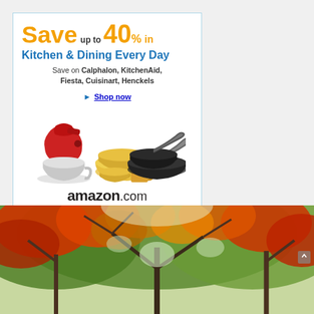[Figure (illustration): Amazon.com advertisement: Save up to 40% in Kitchen & Dining Every Day. Features red KitchenAid mixer, yellow Fiesta dinnerware, black Calphalon pans. Amazon logo with smile at bottom. Privacy link in lower-left corner.]
[Figure (photo): Photograph of autumn/fall trees with red, orange, yellow, and green foliage against a bright sky, viewed from below looking up.]